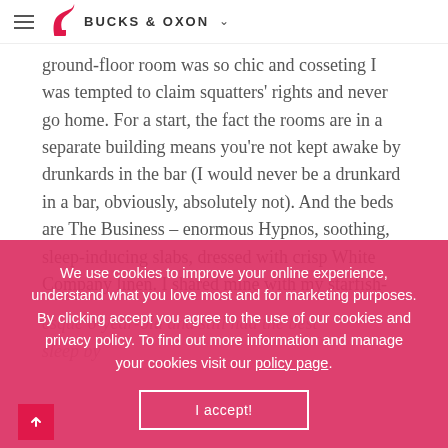BUCKS & OXON
ground-floor room was so chic and cosseting I was tempted to claim squatters' rights and never go home. For a start, the fact the rooms are in a separate building means you're not kept awake by drunkards in the bar (I would never be a drunkard in a bar, obviously, absolutely not). And the beds are The Business – enormous Hypnos, soothing, sleep-inducing slabs, dressed with crisp White Company linen. I shared mine with my starfish-esque 6-year-old and still had the best sleep by.
We use cookies to improve your online experience, understand what you love most and for marketing purposes. By clicking accept you agree to the use of our cookies and privacy policy. To find out more information and manage your cookies visit our policy page.